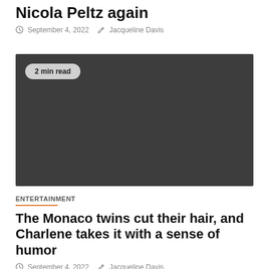Nicola Peltz again
September 4, 2022  Jacqueline Davis
[Figure (photo): Dark gray placeholder image with a '2 min read' badge in the upper left corner]
ENTERTAINMENT
The Monaco twins cut their hair, and Charlene takes it with a sense of humor
September 4, 2022  Jacqueline Davis